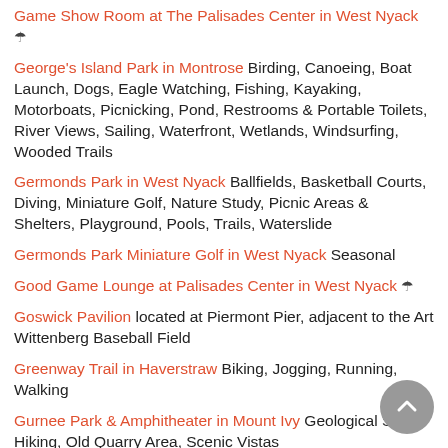Game Show Room at The Palisades Center in West Nyack ☂
George's Island Park in Montrose Birding, Canoeing, Boat Launch, Dogs, Eagle Watching, Fishing, Kayaking, Motorboats, Picnicking, Pond, Restrooms & Portable Toilets, River Views, Sailing, Waterfront, Wetlands, Windsurfing, Wooded Trails
Germonds Park in West Nyack Ballfields, Basketball Courts, Diving, Miniature Golf, Nature Study, Picnic Areas & Shelters, Playground, Pools, Trails, Waterslide
Germonds Park Miniature Golf in West Nyack Seasonal
Good Game Lounge at Palisades Center in West Nyack ☂
Goswick Pavilion located at Piermont Pier, adjacent to the Art Wittenberg Baseball Field
Greenway Trail in Haverstraw Biking, Jogging, Running, Walking
Gurnee Park & Amphitheater in Mount Ivy Geological Study, Hiking, Old Quarry Area, Scenic Vistas
H. Pearson Mapes Flat Rock Park in Hillburn Canoeing, Fishing, Geological Study, Nature Observation, Picturesque, Riverside
Half Moon Park in Piermont Benches, Picnic Tables, Stepped